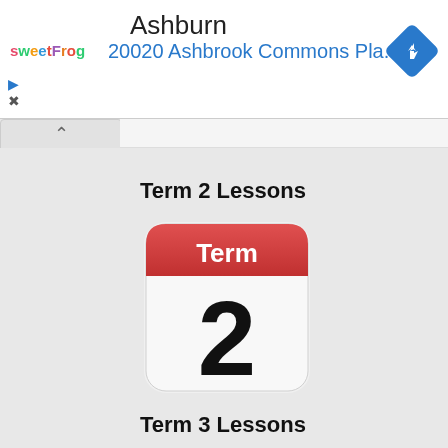[Figure (screenshot): Ad banner showing sweetFrog logo, Ashburn location, 20020 Ashbrook Commons Pla... address, and a blue navigation diamond icon]
Ashburn
20020 Ashbrook Commons Pla...
Term 2 Lessons
[Figure (illustration): Calendar app icon with red header labeled 'Term' and large number 2 below on white background with rounded corners]
Term 3 Lessons
[Figure (illustration): Partially visible calendar app icon with red header, bottom cut off]